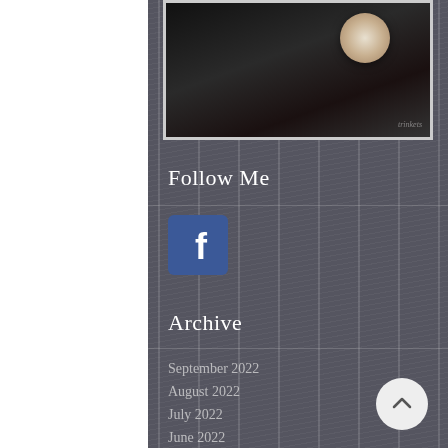[Figure (photo): Dark-toned blog photo at top showing what appears to be a pocket watch or snuff item on a dark surface]
Follow Me
[Figure (logo): Facebook logo icon — blue square with white 'f']
Archive
September 2022
August 2022
July 2022
June 2022
May 2022
April 2022